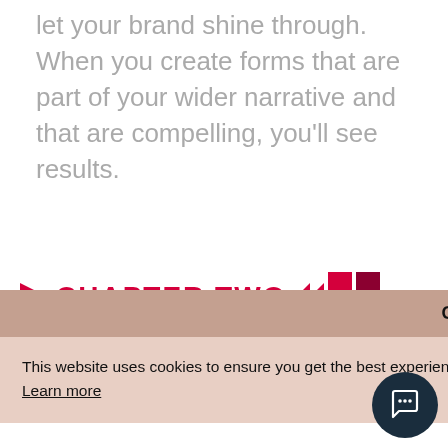let your brand shine through. When you create forms that are part of your wider narrative and that are compelling, you'll see results.
CHAPTER TWO
Got it!
This website uses cookies to ensure you get the best experience on our website. Learn more